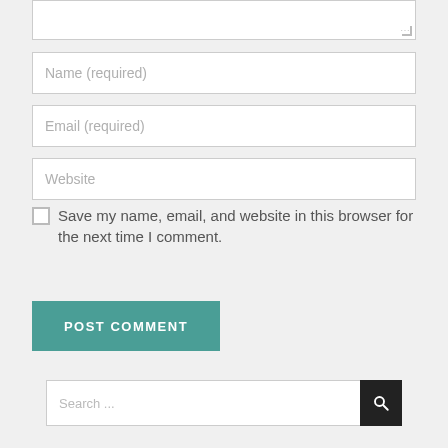[Figure (screenshot): Textarea input box (comment area, partially visible, with resize handle at bottom-right)]
[Figure (screenshot): Text input field with placeholder 'Name (required)']
[Figure (screenshot): Text input field with placeholder 'Email (required)']
[Figure (screenshot): Text input field with placeholder 'Website']
Save my name, email, and website in this browser for the next time I comment.
[Figure (screenshot): POST COMMENT button in teal color]
[Figure (screenshot): Search field with placeholder 'Search ...' and a black search button with magnifier icon]